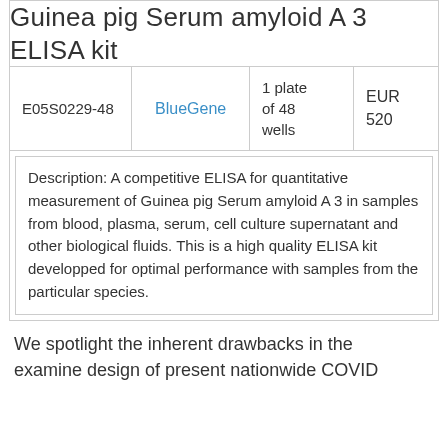Guinea pig Serum amyloid A 3 ELISA kit
|  |  |  |  |
| --- | --- | --- | --- |
| E05S0229-48 | BlueGene | 1 plate of 48 wells | EUR 520 |
Description: A competitive ELISA for quantitative measurement of Guinea pig Serum amyloid A 3 in samples from blood, plasma, serum, cell culture supernatant and other biological fluids. This is a high quality ELISA kit developped for optimal performance with samples from the particular species.
We spotlight the inherent drawbacks in the examine design of present nationwide COVID